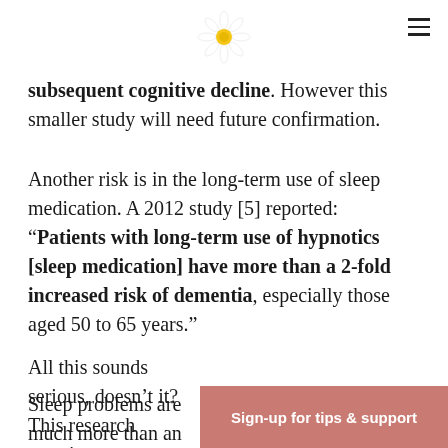[daisy logo] [hamburger menu]
subsequent cognitive decline. However this smaller study will need future confirmation.
Another risk is in the long-term use of sleep medication. A 2012 study [5] reported: "Patients with long-term use of hypnotics [sleep medication] have more than a 2-fold increased risk of dementia, especially those aged 50 to 65 years."
All this sounds serious, doesn’t it? This research surpris
Sleep problems are much more than an
Sign-up for tips & support